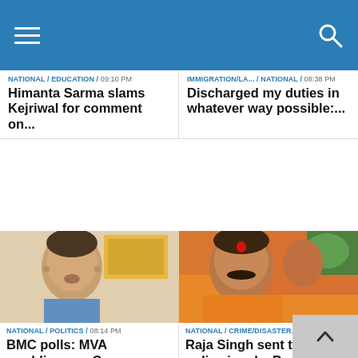Navigation header with hamburger menu and search icon
NATIONAL / EDUCATION / 09:10 PM
Himanta Sarma slams Kejriwal for comment on...
IMMIGRATION/LA... / NATIONAL / 08:38 PM
Discharged my duties in whatever way possible:...
[Figure (photo): Close-up photo of a man with short hair against a light background with artwork]
NATIONAL / POLITICS / 08:14 PM
BMC polls: MVA rumblings as Congress targets Shiv...
[Figure (photo): Close-up photo of a man in orange attire with a red tilak on his forehead]
NATIONAL / CRIME/DISASTER... / 07:20 PM
Raja Singh sent to jail as police invoke Preventive...